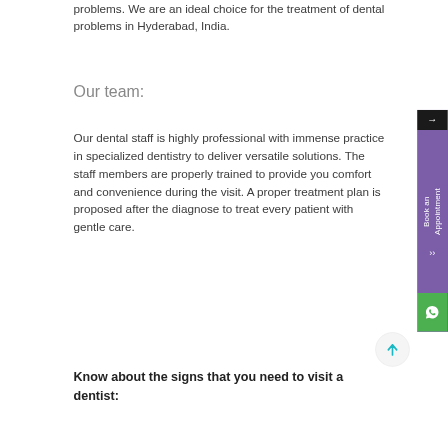problems. We are an ideal choice for the treatment of dental problems in Hyderabad, India.
Our team:
Our dental staff is highly professional with immense practice in specialized dentistry to deliver versatile solutions. The staff members are properly trained to provide you comfort and convenience during the visit. A proper treatment plan is proposed after the diagnose to treat every patient with gentle care.
Know about the signs that you need to visit a dentist: